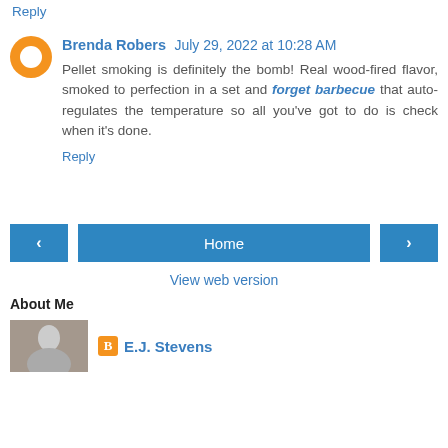Reply
Brenda Robers  July 29, 2022 at 10:28 AM
Pellet smoking is definitely the bomb! Real wood-fired flavor, smoked to perfection in a set and forget barbecue that auto-regulates the temperature so all you've got to do is check when it's done.
Reply
Home
View web version
About Me
E.J. Stevens